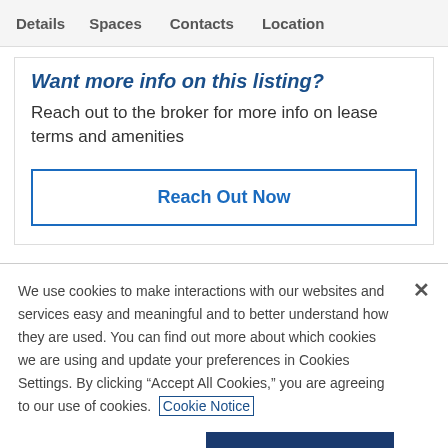Details   Spaces   Contacts   Location
Want more info on this listing?
Reach out to the broker for more info on lease terms and amenities
Reach Out Now
We use cookies to make interactions with our websites and services easy and meaningful and to better understand how they are used. You can find out more about which cookies we are using and update your preferences in Cookies Settings. By clicking "Accept All Cookies," you are agreeing to our use of cookies. Cookie Notice
Cookies Settings
Accept All Cookies